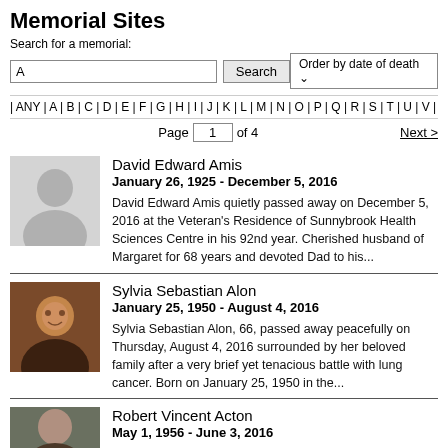Memorial Sites
Search for a memorial:
| ANY | A | B | C | D | E | F | G | H | I | J | K | L | M | N | O | P | Q | R | S | T | U | V | W
Page 1 of 4   Next >
[Figure (photo): Placeholder silhouette photo for David Edward Amis]
David Edward Amis
January 26, 1925 - December 5, 2016
David Edward Amis quietly passed away on December 5, 2016 at the Veteran's Residence of Sunnybrook Health Sciences Centre in his 92nd year. Cherished husband of Margaret for 68 years and devoted Dad to his...
[Figure (photo): Photo of Sylvia Sebastian Alon, a woman smiling]
Sylvia Sebastian Alon
January 25, 1950 - August 4, 2016
Sylvia Sebastian Alon, 66, passed away peacefully on Thursday, August 4, 2016 surrounded by her beloved family after a very brief yet tenacious battle with lung cancer. Born on January 25, 1950 in the...
[Figure (photo): Photo of Robert Vincent Acton]
Robert Vincent Acton
May 1, 1956 - June 3, 2016